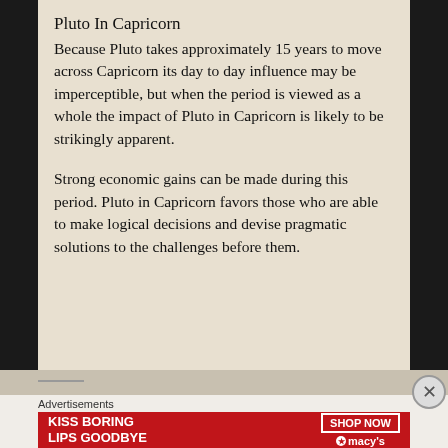Pluto In Capricorn
Because Pluto takes approximately 15 years to move across Capricorn its day to day influence may be imperceptible, but when the period is viewed as a whole the impact of Pluto in Capricorn is likely to be strikingly apparent.
Strong economic gains can be made during this period. Pluto in Capricorn favors those who are able to make logical decisions and devise pragmatic solutions to the challenges before them.
Advertisements
[Figure (illustration): Macy's advertisement banner: 'KISS BORING LIPS GOODBYE' with SHOP NOW button and macys logo on red background]